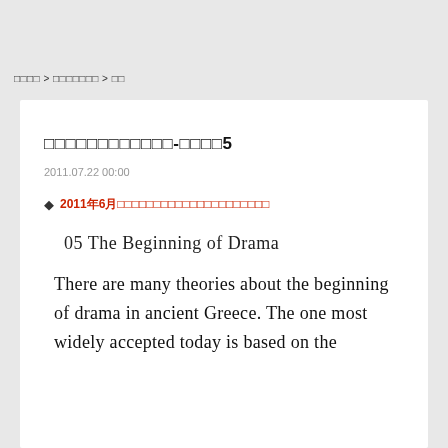□□□□ > □□□□□□ > □□
□□□□□□□□□□□□-□□□□5
2011.07.22 00:00
◆ 2011年6月□□□□□□□□□□□□□□□□□□□□□
05 The Beginning of Drama
There are many theories about the beginning of drama in ancient Greece. The one most widely accepted today is based on the